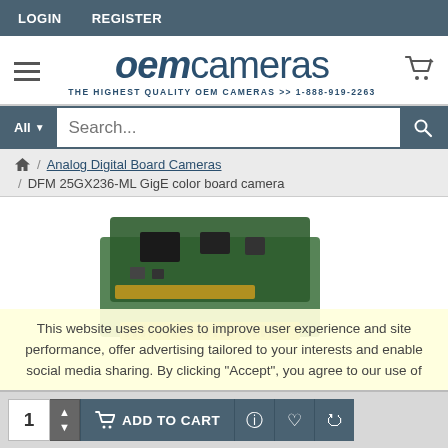LOGIN   REGISTER
[Figure (logo): OEM Cameras logo with tagline: THE HIGHEST QUALITY OEM CAMERAS >> 1-888-919-2263]
Search...
Analog Digital Board Cameras / DFM 25GX236-ML GigE color board camera
[Figure (photo): DFM 25GX236-ML GigE color board camera PCB product photo]
This website uses cookies to improve user experience and site performance, offer advertising tailored to your interests and enable social media sharing. By clicking "Accept", you agree to our use of
1  ADD TO CART